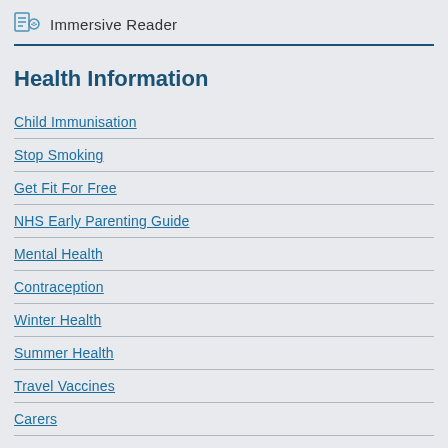Immersive Reader
Health Information
Child Immunisation
Stop Smoking
Get Fit For Free
NHS Early Parenting Guide
Mental Health
Contraception
Winter Health
Summer Health
Travel Vaccines
Carers